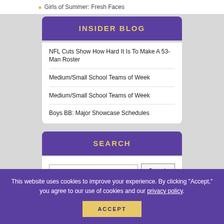Girls of Summer: Fresh Faces
INSIDER BLOG
NFL Cuts Show How Hard It Is To Make A 53-Man Roster
Medium/Small School Teams of Week
Medium/Small School Teams of Week
Boys BB: Major Showcase Schedules
SEARCH
This website uses cookies to improve your experience. By clicking "Accept," you agree to our use of cookies and our privacy policy.
ACCEPT